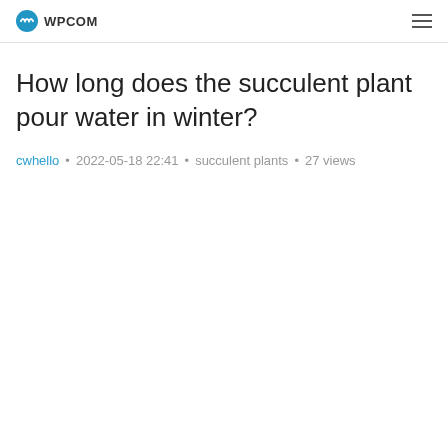WPCOM
How long does the succulent plant pour water in winter?
cwhello • 2022-05-18 22:41 • succulent plants • 27 views